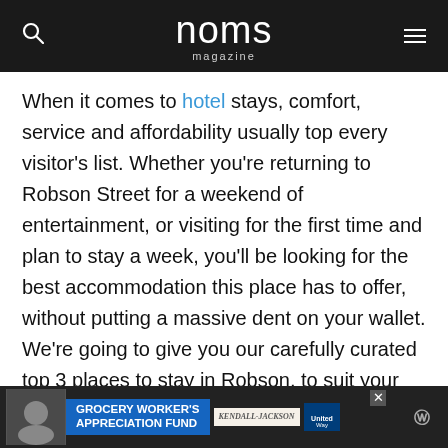noms magazine
When it comes to hotel stays, comfort, service and affordability usually top every visitor's list. Whether you’re returning to Robson Street for a weekend of entertainment, or visiting for the first time and plan to stay a week, you’ll be looking for the best accommodation this place has to offer, without putting a massive dent on your wallet. We’re going to give you our carefully curated top 3 places to stay in Robson, to suit your home-away-from home needs.
[Figure (screenshot): Advertisement banner: Grocery Worker's Appreciation Fund with Kendall-Jackson and United Way logos]